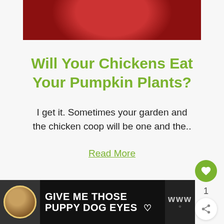[Figure (photo): Partial photo of a chicken with red comb against a reddish-pink background]
Will Your Chickens Eat Your Pumpkin Plants?
I get it. Sometimes your garden and the chicken coop will be one and the..
Read More
[Figure (infographic): Advertisement banner: GIVE ME THOSE PUPPY DOG EYES with a dog image and heart icon]
1